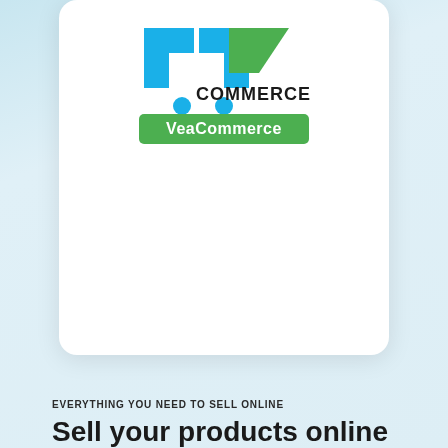[Figure (logo): VeaCommerce logo: a blue and green shopping cart icon with 'COMMERCE' text and a green banner reading 'VeaCommerce']
EVERYTHING YOU NEED TO SELL ONLINE
Sell your products online